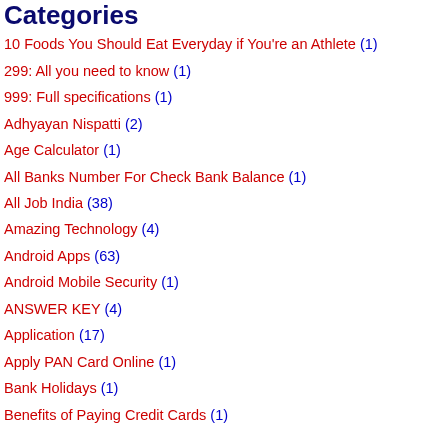Categories
10 Foods You Should Eat Everyday if You're an Athlete (1)
299: All you need to know (1)
999: Full specifications (1)
Adhyayan Nispatti (2)
Age Calculator (1)
All Banks Number For Check Bank Balance (1)
All Job India (38)
Amazing Technology (4)
Android Apps (63)
Android Mobile Security (1)
ANSWER KEY (4)
Application (17)
Apply PAN Card Online (1)
Bank Holidays (1)
Benefits of Paying Credit Cards (1)